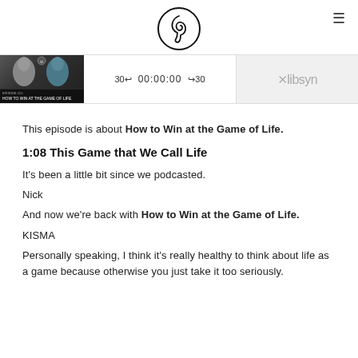[Figure (logo): Circular logo with stylized 'G' or treble-clef symbol in black on white background]
[Figure (screenshot): Podcast player bar showing episode thumbnail for 'How to Win at the Game of Life' Episode 221, with playback controls showing 30 back, 00:00:00, 30 forward, and Libsyn branding]
This episode is about How to Win at the Game of Life.
1:08 This Game that We Call Life
It's been a little bit since we podcasted.
Nick
And now we're back with How to Win at the Game of Life.
KISMA
Personally speaking, I think it's really healthy to think about life as a game because otherwise you just take it too seriously.